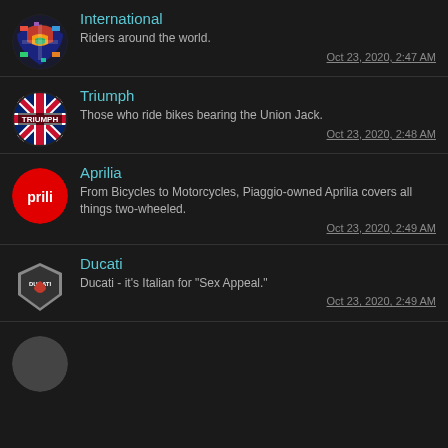International
Riders around the world.
Oct 23, 2020, 2:47 AM
Triumph
Those who ride bikes bearing the Union Jack.
Oct 23, 2020, 2:48 AM
Aprilia
From Bicycles to Motorcycles, Piaggio-owned Aprilia covers all things two-wheeled.
Oct 23, 2020, 2:49 AM
Ducati
Ducati - it's Italian for "Sex Appeal."
Oct 23, 2020, 2:49 AM